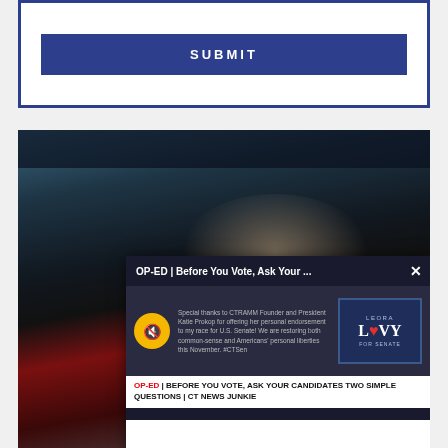[Figure (screenshot): Submit button inside a dark blue bordered form section]
[Figure (photo): Close-up photo of a hand at a gas pump with a red gas pump handle, with a popup overlay showing an op-ed article titled 'OP-ED | Before You Vote, Ask Your...' with a Leora Levy for Senate logo and text 'OP-ED | BEFORE YOU VOTE, ASK YOUR CANDIDATES TWO SIMPLE QUESTIONS | CT NEWS JUNKIE']